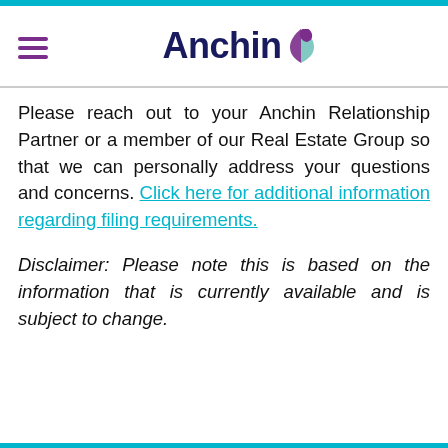[Figure (logo): Anchin logo with dark blue text and purple/teal leaf icon, hamburger menu icon in purple on the left]
Please reach out to your Anchin Relationship Partner or a member of our Real Estate Group so that we can personally address your questions and concerns. Click here for additional information regarding filing requirements.
Disclaimer: Please note this is based on the information that is currently available and is subject to change.